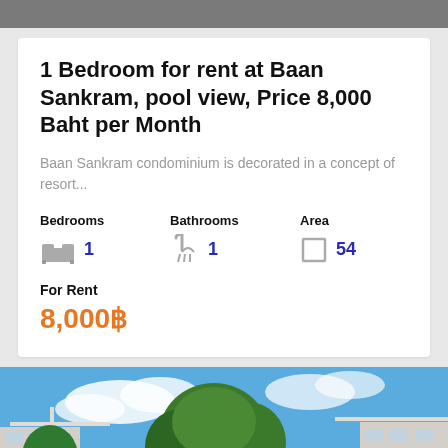1 Bedroom for rent at Baan Sankram, pool view, Price 8,000 Baht per Month
Baan Sankram condominium is decorated in a concept of resort...
Bedrooms 1   Bathrooms 1   Area 54
For Rent
8,000฿
[Figure (photo): Exterior photo of Baan Sankram condominium building with trees and blue sky]